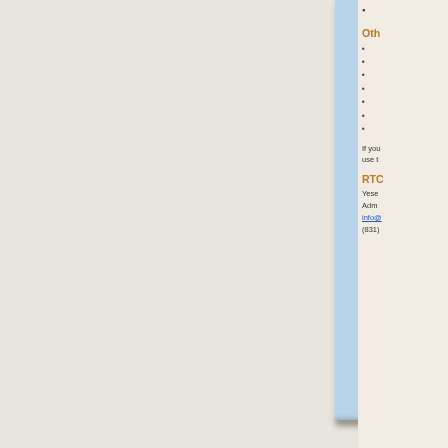Other
If you use t
RTC
Yese
Adm
info@
(831)